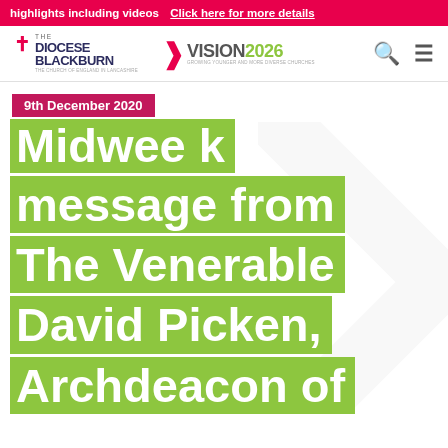highlights including videos  Click here for more details
[Figure (logo): Diocese of Blackburn logo with cross]
[Figure (logo): Vision 2026 logo with green chevron]
9th December 2020
Midweek message from The Venerable David Picken, Archdeacon of